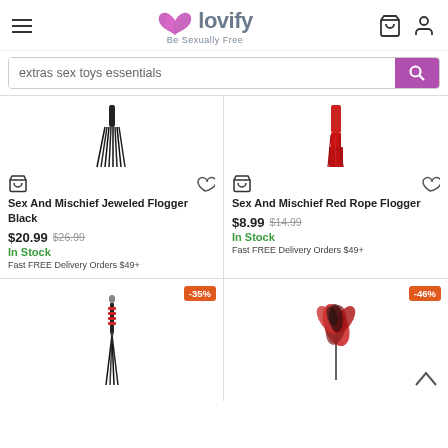lovify - Be Sexually Free
extras sex toys essentials
[Figure (photo): Black flogger product image]
Sex And Mischief Jeweled Flogger Black
$20.99 $26.99
In Stock
Fast FREE Delivery Orders $49+
[Figure (photo): Red rope flogger product image]
Sex And Mischief Red Rope Flogger
$8.99 $14.99
In Stock
Fast FREE Delivery Orders $49+
[Figure (photo): Black whip product image, -35% badge]
[Figure (photo): Red feather tickler product image, -46% badge]